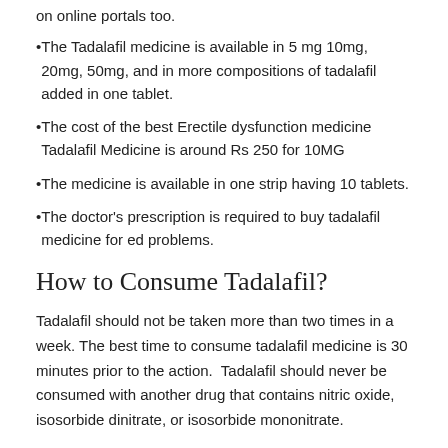on online portals too.
The Tadalafil medicine is available in 5 mg 10mg, 20mg, 50mg, and in more compositions of tadalafil added in one tablet.
The cost of the best Erectile dysfunction medicine Tadalafil Medicine is around Rs 250 for 10MG
The medicine is available in one strip having 10 tablets.
The doctor's prescription is required to buy tadalafil medicine for ed problems.
How to Consume Tadalafil?
Tadalafil should not be taken more than two times in a week. The best time to consume tadalafil medicine is 30 minutes prior to the action.  Tadalafil should never be consumed with another drug that contains nitric oxide, isosorbide dinitrate, or isosorbide mononitrate.